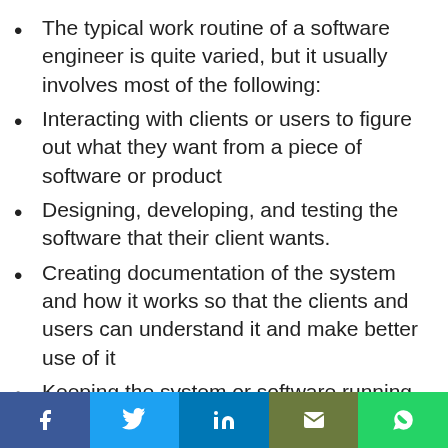The typical work routine of a software engineer is quite varied, but it usually involves most of the following:
Interacting with clients or users to figure out what they want from a piece of software or product
Designing, developing, and testing the software that their client wants.
Creating documentation of the system and how it works so that the clients and users can understand it and make better use of it
Keeping the system or software running in good order, with regular maintenance,